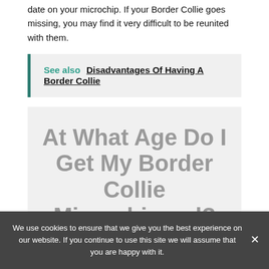date on your microchip. If your Border Collie goes missing, you may find it very difficult to be reunited with them.
See also  Disadvantages Of Having A Border Collie
At What Age Do I Get My Border Collie Microchipped?
We use cookies to ensure that we give you the best experience on our website. If you continue to use this site we will assume that you are happy with it.